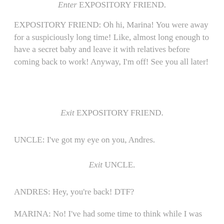Enter EXPOSITORY FRIEND.
EXPOSITORY FRIEND: Oh hi, Marina! You were away for a suspiciously long time! Like, almost long enough to have a secret baby and leave it with relatives before coming back to work! Anyway, I'm off! See you all later!
Exit EXPOSITORY FRIEND.
UNCLE: I've got my eye on you, Andres.
Exit UNCLE.
ANDRES: Hey, you're back! DTF?
MARINA: No! I've had some time to think while I was